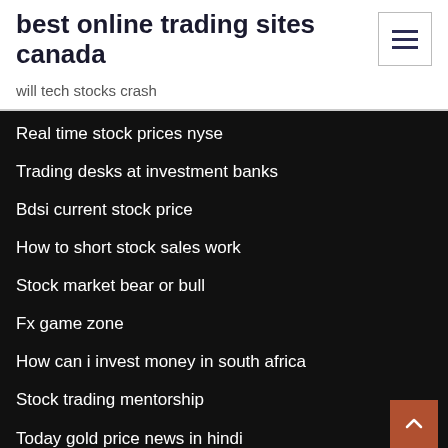best online trading sites canada
will tech stocks crash
Real time stock prices nyse
Trading desks at investment banks
Bdsi current stock price
How to short stock sales work
Stock market bear or bull
Fx game zone
How can i invest money in south africa
Stock trading mentorship
Today gold price news in hindi
Lemon fool investing